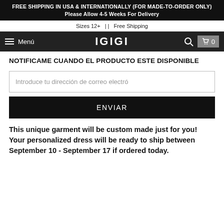FREE SHIPPING IN USA & INTERNATIONALLY (FOR MADE-TO-ORDER ONLY) Please Allow 4-5 Weeks For Delivery
Sizes 12+  |  |  Free Shipping
Menú  IGIGI  0
NOTIFICAME CUANDO EL PRODUCTO ESTE DISPONIBLE
Introduce tu dirección de correo electró
ENVIAR
This unique garment will be custom made just for you! Your personalized dress will be ready to ship between September 10 - September 17 if ordered today.